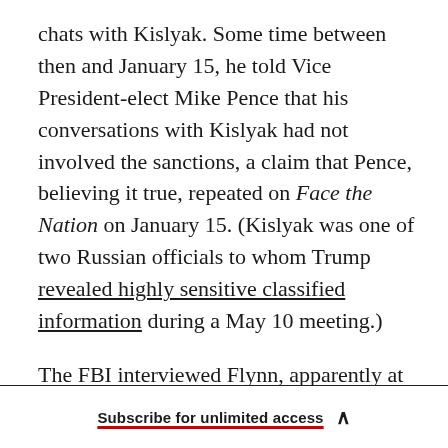chats with Kislyak. Some time between then and January 15, he told Vice President-elect Mike Pence that his conversations with Kislyak had not involved the sanctions, a claim that Pence, believing it true, repeated on Face the Nation on January 15. (Kislyak was one of two Russian officials to whom Trump revealed highly sensitive classified information during a May 10 meeting.)
The FBI interviewed Flynn, apparently at the White House, on January 25. The following day, Acting Attorney General Sally Yates visited McGahn, and informed him that Flynn was lying,
Subscribe for unlimited access